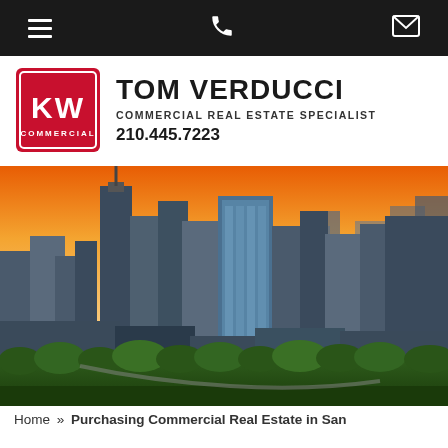Navigation bar with hamburger menu, phone icon, and email icon
[Figure (logo): KW Commercial logo — red square badge with white KW letters and COMMERCIAL text below, followed by agent name TOM VERDUCCI, COMMERCIAL REAL ESTATE SPECIALIST, 210.445.7223]
[Figure (photo): Aerial panoramic photo of a city skyline at sunset/dusk with orange and yellow sky, showing tall modern skyscrapers and buildings, green trees in foreground, urban development scene]
Home » Purchasing Commercial Real Estate in San Antonio, Texas